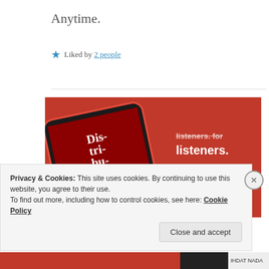Anytime.
★ Liked by 2 people
[Figure (screenshot): Advertisement showing a smartphone with a podcast app open displaying 'Dis-tri-bu-ted' text on a red background, with text 'listeners. for listeners.' and a 'Download now' button]
Privacy & Cookies: This site uses cookies. By continuing to use this website, you agree to their use.
To find out more, including how to control cookies, see here: Cookie Policy
Close and accept